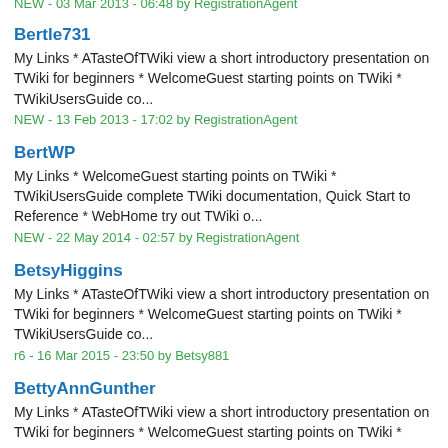NEW - 03 Mar 2013 - 06:48 by RegistrationAgent
Bertle731
My Links * ATasteOfTWiki view a short introductory presentation on TWiki for beginners * WelcomeGuest starting points on TWiki * TWikiUsersGuide co...
NEW - 13 Feb 2013 - 17:02 by RegistrationAgent
BertWP
My Links * WelcomeGuest starting points on TWiki * TWikiUsersGuide complete TWiki documentation, Quick Start to Reference * WebHome try out TWiki o...
NEW - 22 May 2014 - 02:57 by RegistrationAgent
BetsyHiggins
My Links * ATasteOfTWiki view a short introductory presentation on TWiki for beginners * WelcomeGuest starting points on TWiki * TWikiUsersGuide co...
r6 - 16 Mar 2015 - 23:50 by Betsy881
BettyAnnGunther
My Links * ATasteOfTWiki view a short introductory presentation on TWiki for beginners * WelcomeGuest starting points on TWiki *